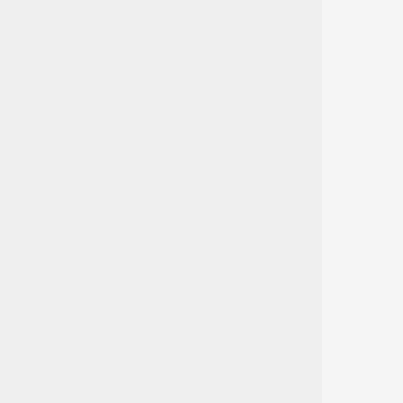For this project, I wanted to create a nice Legos part. Notice that the word 'Legos' still contains an 'S,' this is because the singular and plural forms are the same. As an engineer, many ethical aspects have to be taken into respect. This Legos part was intended for small children whose imagination may cause them to eat parts. Therefore, the design was created on a 3in x 3in block. I also